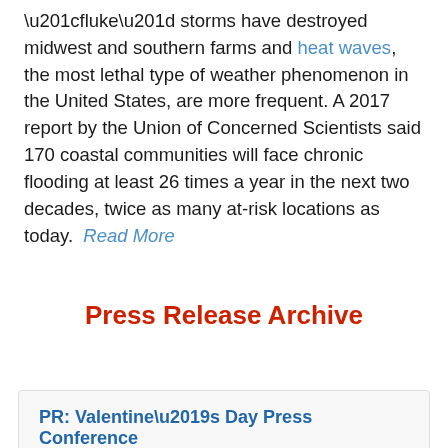“fluke” storms have destroyed midwest and southern farms and heat waves, the most lethal type of weather phenomenon in the United States, are more frequent. A 2017 report by the Union of Concerned Scientists said 170 coastal communities will face chronic flooding at least 26 times a year in the next two decades, twice as many at-risk locations as today.  Read More
Press Release Archive
PR: Valentine’s Day Press Conference